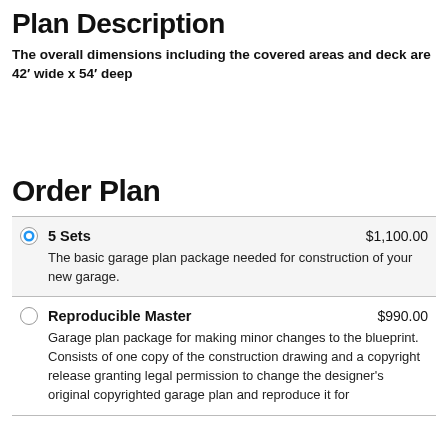Plan Description
The overall dimensions including the covered areas and deck are 42' wide x 54' deep
Order Plan
5 Sets $1,100.00
The basic garage plan package needed for construction of your new garage.
Reproducible Master $990.00
Garage plan package for making minor changes to the blueprint. Consists of one copy of the construction drawing and a copyright release granting legal permission to change the designer's original copyrighted garage plan and reproduce it for